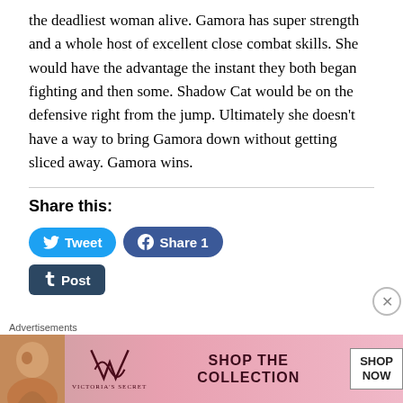the deadliest woman alive. Gamora has super strength and a whole host of excellent close combat skills. She would have the advantage the instant they both began fighting and then some. Shadow Cat would be on the defensive right from the jump. Ultimately she doesn't have a way to bring Gamora down without getting sliced away. Gamora wins.
Share this:
Tweet | Share 1 | Post
[Figure (screenshot): Advertisement banner for Victoria's Secret with model photo, VS logo, 'SHOP THE COLLECTION' text, and 'SHOP NOW' button on pink background]
Advertisements